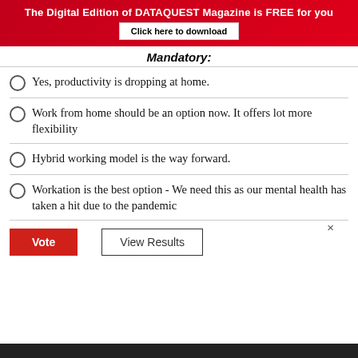The Digital Edition of DATAQUEST Magazine is FREE for you
Click here to download
Mandatory:
Yes, productivity is dropping at home.
Work from home should be an option now. It offers lot more flexibility
Hybrid working model is the way forward.
Workation is the best option - We need this as our mental health has taken a hit due to the pandemic
Vote
View Results